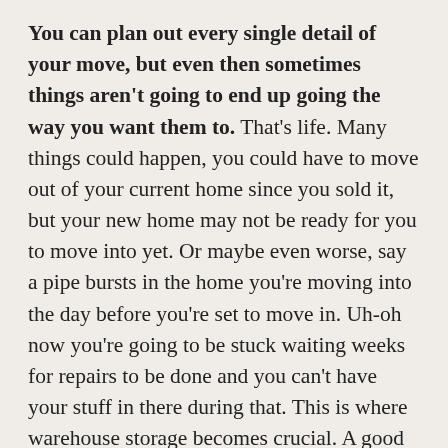You can plan out every single detail of your move, but even then sometimes things aren't going to end up going the way you want them to. That's life. Many things could happen, you could have to move out of your current home since you sold it, but your new home may not be ready for you to move into yet. Or maybe even worse, say a pipe bursts in the home you're moving into the day before you're set to move in. Uh-oh now you're going to be stuck waiting weeks for repairs to be done and you can't have your stuff in there during that. This is where warehouse storage becomes crucial. A good local moving company should have a warehouse where they can vault and store your things until you're ready for them. This ensures safety and security for your things, and not having to deal with it all on your own. Nobody wants to get stuck in a situation like this, but sometimes that's how